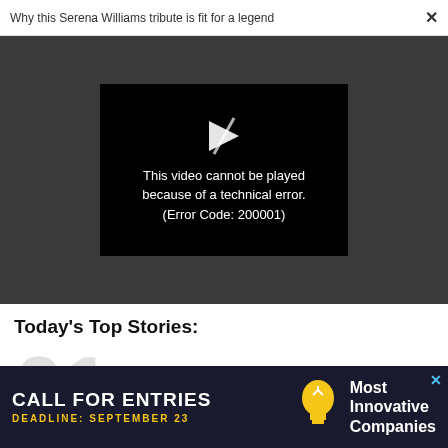Why this Serena Williams tribute is fit for a legend
[Figure (screenshot): Video player showing error message: This video cannot be played because of a technical error. (Error Code: 200001)]
Today's Top Stories:
01
[Figure (infographic): Advertisement banner: CALL FOR ENTRIES, DEADLINE: SEPTEMBER 23, Most Innovative Companies]